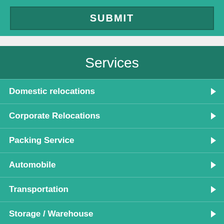SUBMIT
Services
Domestic relocations
Corporate Relocations
Packing Service
Automobile
Transportation
Storage / Warehouse
Air Cargo
Logistic
Insurance Service